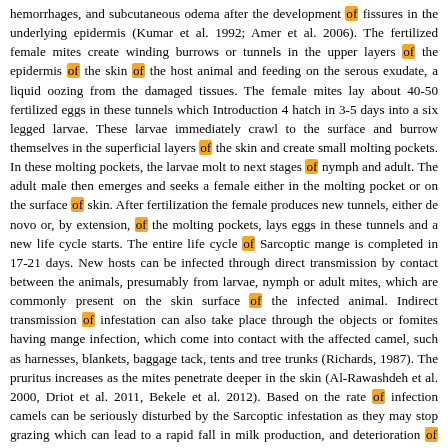hemorrhages, and subcutaneous odema after the development of fissures in the underlying epidermis (Kumar et al. 1992; Amer et al. 2006). The fertilized female mites create winding burrows or tunnels in the upper layers of the epidermis of the skin of the host animal and feeding on the serous exudate, a liquid oozing from the damaged tissues. The female mites lay about 40-50 fertilized eggs in these tunnels which Introduction 4 hatch in 3-5 days into a six legged larvae. These larvae immediately crawl to the surface and burrow themselves in the superficial layers of the skin and create small molting pockets. In these molting pockets, the larvae molt to next stages of nymph and adult. The adult male then emerges and seeks a female either in the molting pocket or on the surface of skin. After fertilization the female produces new tunnels, either de novo or, by extension, of the molting pockets, lays eggs in these tunnels and a new life cycle starts. The entire life cycle of Sarcoptic mange is completed in 17-21 days. New hosts can be infected through direct transmission by contact between the animals, presumably from larvae, nymph or adult mites, which are commonly present on the skin surface of the infected animal. Indirect transmission of infestation can also take place through the objects or fomites having mange infection, which come into contact with the affected camel, such as harnesses, blankets, baggage tack, tents and tree trunks (Richards, 1987). The pruritus increases as the mites penetrate deeper in the skin (Al-Rawashdeh et al. 2000, Driot et al. 2011, Bekele et al. 2012). Based on the rate of infection camels can be seriously disturbed by the Sarcoptic infestation as they may stop grazing which can lead to a rapid fall in milk production, and deterioration of health condition. With the increase in the irritation due to scabies, the camel rubs, bites and scratches the affected areas in an attempt to reduce the itchiness. Due to rubbing, biting or scratching, the mites move to the periphery affecting the healthy tissues and resultantly affected area spreads. As the disease prolongs, the skin becomes excoriated, leading to hair loss and the development of scabs. These scabs in turn may be rubbed away and a red surface developed. The animal becomes restless due